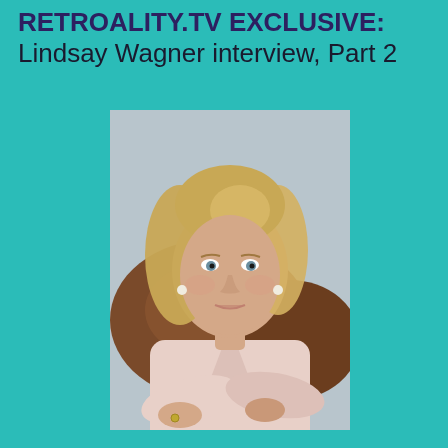RETROALITY.TV EXCLUSIVE: Lindsay Wagner interview, Part 2
[Figure (photo): Portrait photo of Lindsay Wagner, a blonde woman in a light pink blazer, arms crossed, seated in front of a brown ornate couch, smiling at the camera.]